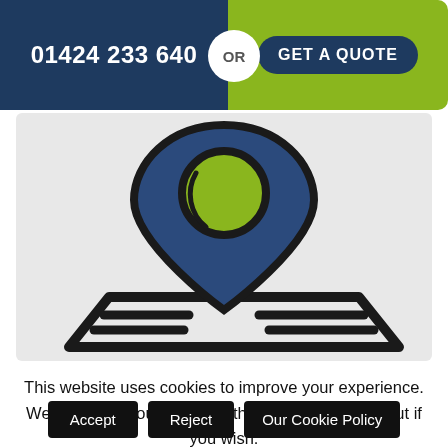01424 233 640  OR  GET A QUOTE
[Figure (illustration): Map pin / location marker icon with navy blue teardrop shape, green circle inside, and a map outline beneath it, on a light gray background]
This website uses cookies to improve your experience. We'll assume you're ok with this, but you can opt-out if you wish.
Accept
Reject
Our Cookie Policy